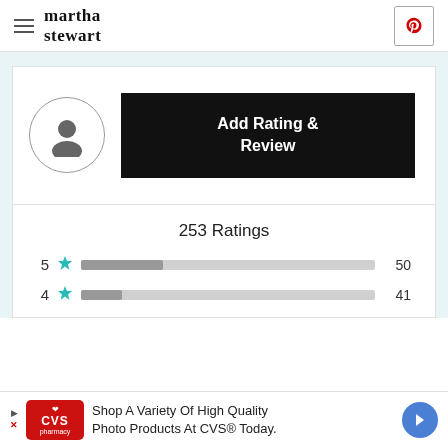martha stewart
[Figure (other): Add Rating & Review button with user avatar circle on the left]
253 Ratings
[Figure (bar-chart): Ratings breakdown]
[Figure (other): CVS Pharmacy advertisement: Shop A Variety Of High Quality Photo Products At CVS® Today.]